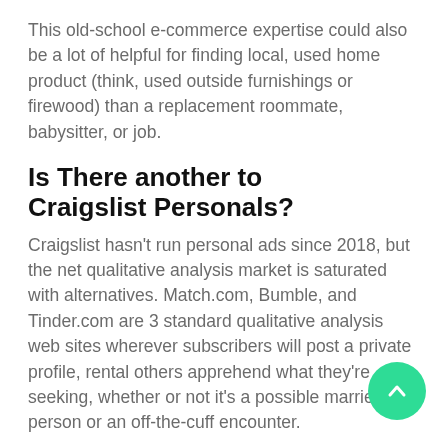This old-school e-commerce expertise could also be a lot of helpful for finding local, used home product (think, used outside furnishings or firewood) than a replacement roommate, babysitter, or job.
Is There another to Craigslist Personals?
Craigslist hasn't run personal ads since 2018, but the net qualitative analysis market is saturated with alternatives. Match.com, Bumble, and Tinder.com are 3 standard qualitative analysis web sites wherever subscribers will post a private profile, rental others apprehend what they're seeking, whether or not it's a possible married person or an off-the-cuff encounter.
What Replaced Craigslist for Dating?